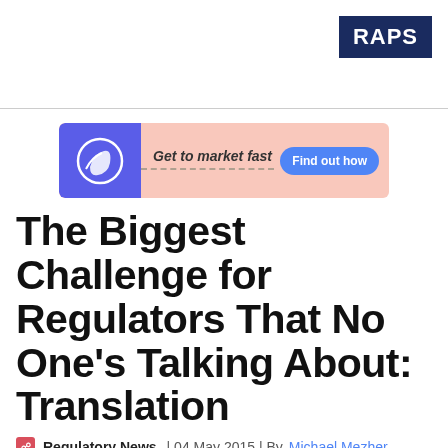RAPS
[Figure (other): Advertisement banner: blue left panel with circular logo icon, pink/salmon background, text 'Get to market fast' in italic bold, blue pill button 'Find out how']
The Biggest Challenge for Regulators That No One's Talking About: Translation
Regulatory News | 04 May 2015 | By Michael Mezher
[Figure (photo): Bottom partial image showing green grass/turf, likely a soccer/football field]